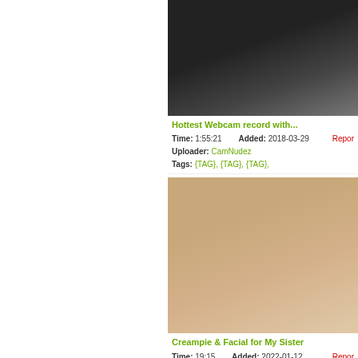[Figure (photo): Cropped thumbnail of a woman in a dark outfit, partial webcam screenshot]
Hottest Webcam record with...
Time: 1:55:21  Added: 2018-03-29
Uploader: CamNudez  Report
Tags: {TAG}, {TAG}, {TAG},
[Figure (photo): Thumbnail of a woman lying on a bed]
Creampie & Facial for My Sister
Time: 19:15  Added: 2022-01-12
Uploader: Beeg  Report
Tags: {TAG}, {TAG}, {TAG},